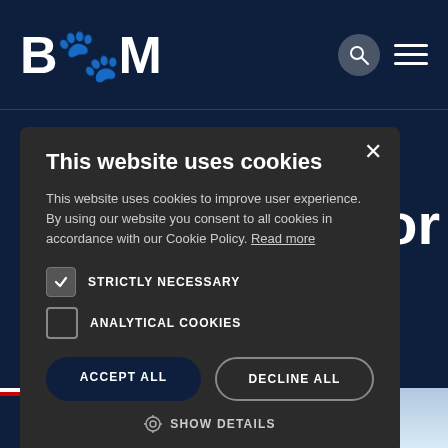[Figure (screenshot): BSM website header with logo, search icon, and hamburger menu on dark navy background]
on for tion
This website uses cookies

This website uses cookies to improve user experience. By using our website you consent to all cookies in accordance with our Cookie Policy. Read more

☑ STRICTLY NECESSARY
☐ ANALYTICAL COOKIES

[ACCEPT ALL] [DECLINE ALL]

⚙ SHOW DETAILS